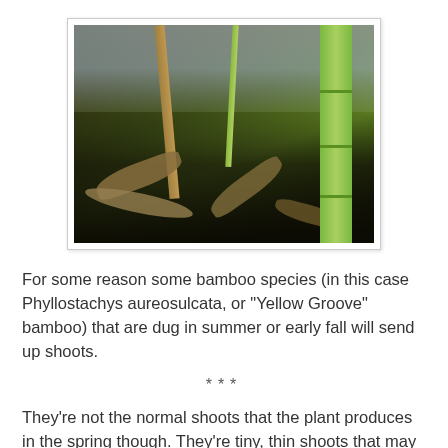[Figure (photo): Close-up photo of bamboo shoots and stalks emerging from dark soil with dead leaf litter on the ground. A bright green bamboo stalk is prominent on the right side, with thinner shoots in the center. A small ladybug is visible among the debris.]
For some reason some bamboo species (in this case Phyllostachys aureosulcata, or "Yellow Groove" bamboo) that are dug in summer or early fall will send up shoots.
***
They're not the normal shoots that the plant produces in the spring though. They're tiny, thin shoots that may or may not have enough time to leaf out and harden before it gets too